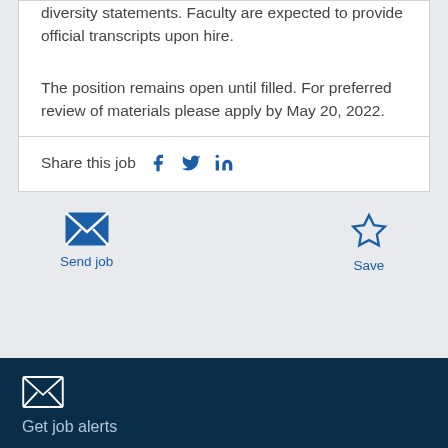diversity statements. Faculty are expected to provide official transcripts upon hire.
The position remains open until filled. For preferred review of materials please apply by May 20, 2022.
Share this job
Send job
Save
Get job alerts